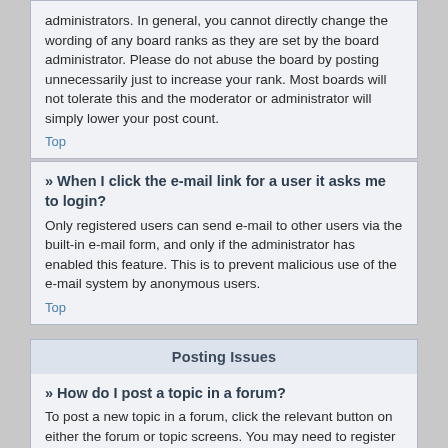administrators. In general, you cannot directly change the wording of any board ranks as they are set by the board administrator. Please do not abuse the board by posting unnecessarily just to increase your rank. Most boards will not tolerate this and the moderator or administrator will simply lower your post count.
Top
» When I click the e-mail link for a user it asks me to login?
Only registered users can send e-mail to other users via the built-in e-mail form, and only if the administrator has enabled this feature. This is to prevent malicious use of the e-mail system by anonymous users.
Top
Posting Issues
» How do I post a topic in a forum?
To post a new topic in a forum, click the relevant button on either the forum or topic screens. You may need to register before you can post a message. A list of your permissions in each forum is available at the bottom of the forum and topic screens. Example: You can post new topics, You can vote in polls, etc.
Top
» How do I edit or delete a post?
Unless you are a board administrator or moderator, you can only edit or delete your own posts. You can edit a post by clicking the...